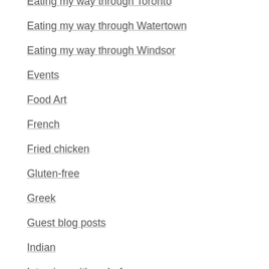Eating my way through Toronto
Eating my way through Watertown
Eating my way through Windsor
Events
Food Art
French
Fried chicken
Gluten-free
Greek
Guest blog posts
Indian
Interview with a chef
Italian
Japanese